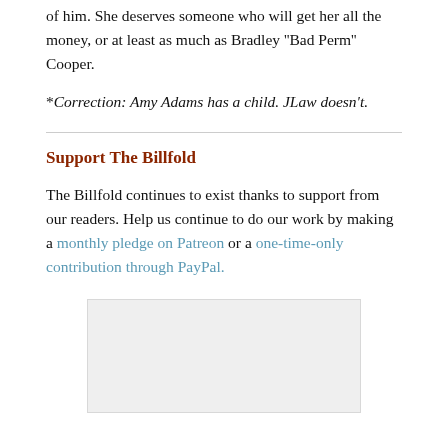of him. She deserves someone who will get her all the money, or at least as much as Bradley ''Bad Perm'' Cooper.
*Correction: Amy Adams has a child. JLaw doesn't.
Support The Billfold
The Billfold continues to exist thanks to support from our readers. Help us continue to do our work by making a monthly pledge on Patreon or a one-time-only contribution through PayPal.
[Figure (other): Advertisement or placeholder box with light gray background]